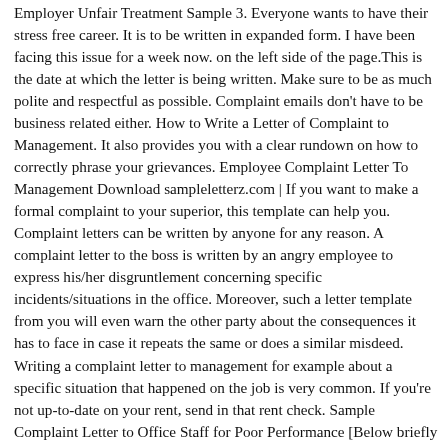Employer Unfair Treatment Sample 3. Everyone wants to have their stress free career. It is to be written in expanded form. I have been facing this issue for a week now. on the left side of the page.This is the date at which the letter is being written. Make sure to be as much polite and respectful as possible. Complaint emails don't have to be business related either. How to Write a Letter of Complaint to Management. It also provides you with a clear rundown on how to correctly phrase your grievances. Employee Complaint Letter To Management Download sampleletterz.com | If you want to make a formal complaint to your superior, this template can help you. Complaint letters can be written by anyone for any reason. A complaint letter to the boss is written by an angry employee to express his/her disgruntlement concerning specific incidents/situations in the office. Moreover, such a letter template from you will even warn the other party about the consequences it has to face in case it repeats the same or does a similar misdeed. Writing a complaint letter to management for example about a specific situation that happened on the job is very common. If you're not up-to-date on your rent, send in that rent check. Sample Complaint Letter to Office Staff for Poor Performance [Below briefly focus on Sample Complaint Letter to Office Staff for Poor Performance. It also can be a more professional way of handling the issue. Here is a sample complaint letter for bad service, that will help you better understand how you should go about writing a complaint letter. Complaint Letter to Management. Important tips